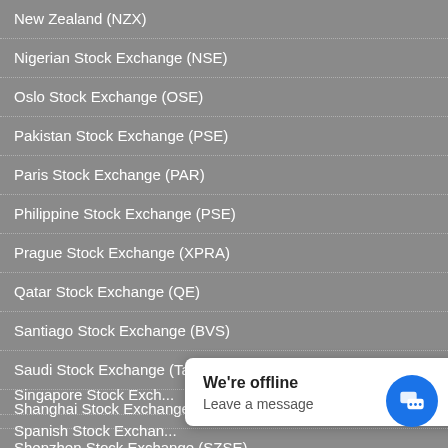New Zealand (NZX)
Nigerian Stock Exchange (NSE)
Oslo Stock Exchange (OSE)
Pakistan Stock Exchange (PSE)
Paris Stock Exchange (PAR)
Philippine Stock Exchange (PSE)
Prague Stock Exchange (XPRA)
Qatar Stock Exchange (QE)
Santiago Stock Exchange (BVS)
Saudi Stock Exchange (Tadawul)
Shanghai Stock Exchange (SSE)
Shenzhen Stock Exchange (SZSE)
Singapore Stock Exchange
Spanish Stock Exchange